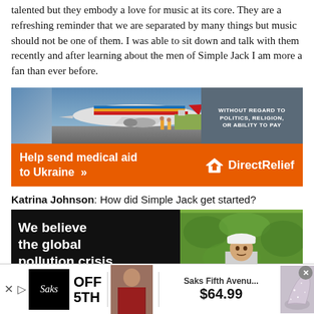everyone at a Simple Jack show. These guys are not only talented but they embody a love for music at its core. They are a refreshing reminder that we are separated by many things but music should not be one of them. I was able to sit down and talk with them recently and after learning about the men of Simple Jack I am more a fan than ever before.
[Figure (photo): Advertisement banner: airplane being loaded with cargo on the left side with Southwest Airlines livery, and a dark gray panel on the right with text 'WITHOUT REGARD TO POLITICS, RELIGION, OR ABILITY TO PAY']
[Figure (photo): Orange advertisement banner for Direct Relief charity: 'Help send medical aid to Ukraine >>' with Direct Relief logo on the right]
Katrina Johnson: How did Simple Jack get started?
[Figure (photo): Advertisement: Black background with white bold text 'We believe the global pollution crisis' on the left, and a photo of a person in a white hard hat among green foliage on the right]
[Figure (photo): Bottom advertisement banner for Saks Fifth Avenue OFF 5TH showing a man in a red sweater and a sparkly shoe, with price $64.99]